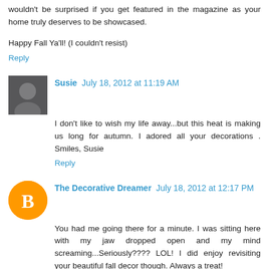wouldn't be surprised if you get featured in the magazine as your home truly deserves to be showcased.
Happy Fall Ya'll! (I couldn't resist)
Reply
Susie  July 18, 2012 at 11:19 AM
I don't like to wish my life away...but this heat is making us long for autumn. I adored all your decorations . Smiles, Susie
Reply
The Decorative Dreamer  July 18, 2012 at 12:17 PM
You had me going there for a minute. I was sitting here with my jaw dropped open and my mind screaming...Seriously???? LOL! I did enjoy revisiting your beautiful fall decor though. Always a treat!
Reply